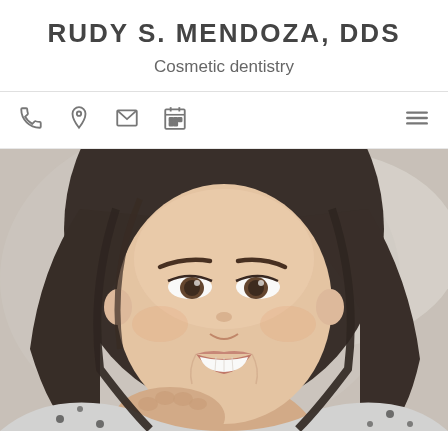RUDY S. MENDOZA, DDS
Cosmetic dentistry
[Figure (screenshot): Navigation bar with phone, location pin, envelope, and calendar icons on the left; hamburger menu icon on the right]
[Figure (photo): Smiling young brunette woman with hand resting under chin, wearing a black and white patterned top, blurred background — dental practice hero image]